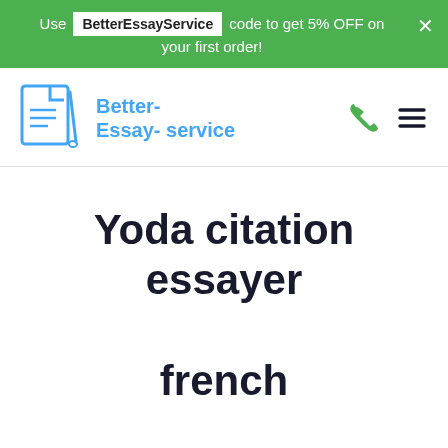Use BetterEssayService code to get 5% OFF on your first order!
[Figure (logo): Better-Essay-service logo with document and pen icon in blue, and navigation icons (phone and hamburger menu)]
Yoda citation essayer french
UWAGA!